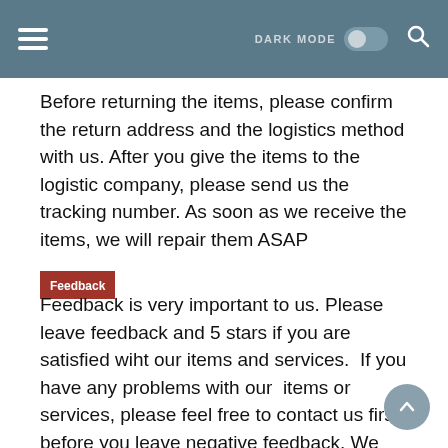DARK MODE [toggle] [search]
Before returning the items, please confirm the return address and the logistics method with us. After you give the items to the logistic company, please send us the tracking number. As soon as we receive the items, we will repair them ASAP
Feedback
Feedback is very important to us. Please leave feedback and 5 stars if you are satisfied wiht our items and services.  If you have any problems with our  items or services, please feel free to contact us first before you leave negative feedback. We will do our best to solve any problems and provide you with the best customer services.